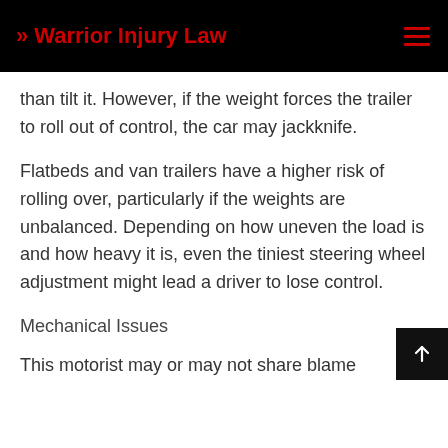>> Warrior Injury Law
than tilt it. However, if the weight forces the trailer to roll out of control, the car may jackknife.
Flatbeds and van trailers have a higher risk of rolling over, particularly if the weights are unbalanced. Depending on how uneven the load is and how heavy it is, even the tiniest steering wheel adjustment might lead a driver to lose control.
Mechanical Issues
This motorist may or may not share blame